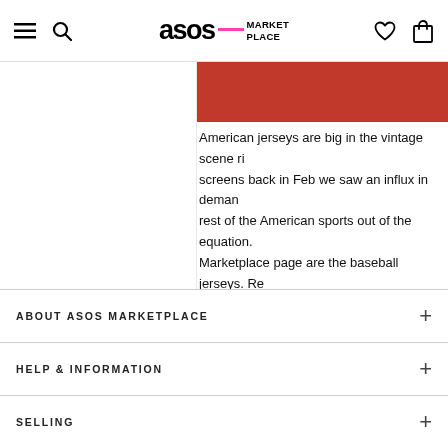ASOS Marketplace
[Figure (photo): Red background image strip at top right of content area]
American jerseys are big in the vintage scene ri... screens back in Feb we saw an influx in deman... rest of the American sports out of the equation. Marketplace page are the baseball jerseys. Re... about the rules (i don't) then don't let that put y... embroidered patches that will work wonders in
Read post...
ABOUT ASOS MARKETPLACE
HELP & INFORMATION
SELLING